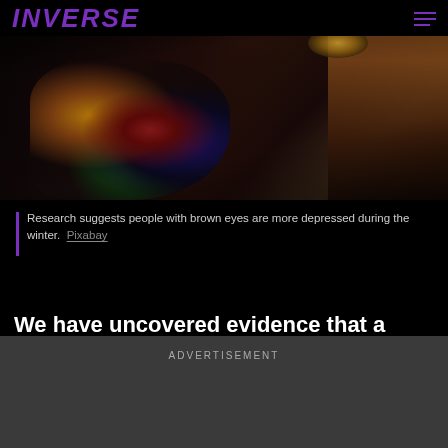INVERSE
[Figure (photo): Woman with colorful knitted scarf covering her face, with green-brown eyes visible above the scarf, long brown hair, dark background.]
Research suggests people with brown eyes are more depressed during the winter. Pixabay
We have uncovered evidence that a person’s eye color can have a direct effect on how susceptible they are to SAD.
ADVERTISEMENT